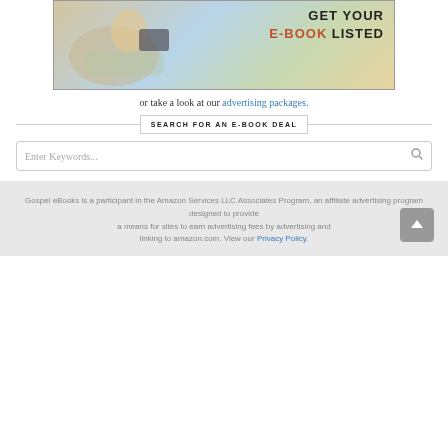[Figure (illustration): Advertisement banner showing a person relaxing and reading an e-reader with text 'GET YOUR E-BOOK LISTED']
or take a look at our advertising packages.
SEARCH FOR AN E-BOOK DEAL
Enter Keywords...
Gospel eBooks is a participant in the Amazon Services LLC Associates Program, an affiliate advertising program designed to provide a means for sites to earn advertising fees by advertising and linking to amazon.com. View our Privacy Policy.